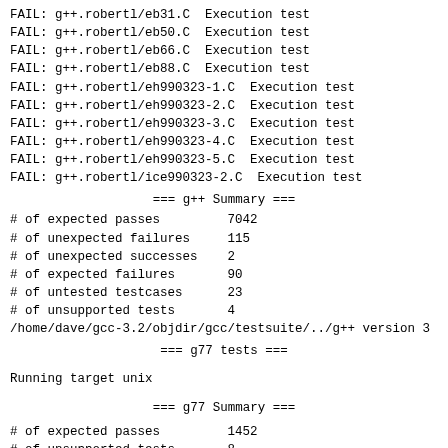FAIL: g++.robertl/eb31.C  Execution test
FAIL: g++.robertl/eb50.C  Execution test
FAIL: g++.robertl/eb66.C  Execution test
FAIL: g++.robertl/eb88.C  Execution test
FAIL: g++.robertl/eh990323-1.C  Execution test
FAIL: g++.robertl/eh990323-2.C  Execution test
FAIL: g++.robertl/eh990323-3.C  Execution test
FAIL: g++.robertl/eh990323-4.C  Execution test
FAIL: g++.robertl/eh990323-5.C  Execution test
FAIL: g++.robertl/ice990323-2.C  Execution test
=== g++ Summary ===
| Metric | Value |
| --- | --- |
| # of expected passes | 7042 |
| # of unexpected failures | 115 |
| # of unexpected successes | 2 |
| # of expected failures | 90 |
| # of untested testcases | 23 |
| # of unsupported tests | 4 |
/home/dave/gcc-3.2/objdir/gcc/testsuite/../g++ version 3
=== g77 tests ===
Running target unix
=== g77 Summary ===
| Metric | Value |
| --- | --- |
| # of expected passes | 1452 |
| # of unsupported tests | 8 |